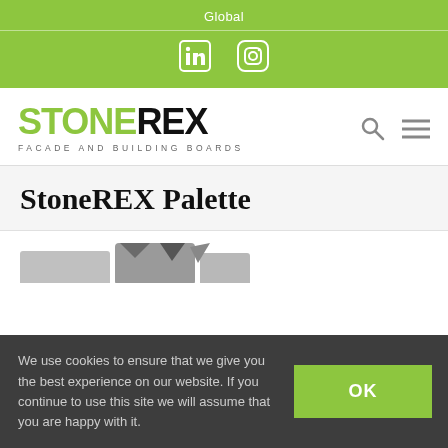Global
[Figure (illustration): LinkedIn and Instagram social media icons in white on green background]
[Figure (logo): StoneREX logo — STONE in green, REX in black bold letters, with tagline FACADE AND BUILDING BOARDS below]
StoneREX Palette
[Figure (photo): Partial view of StoneREX palette product image showing grey/dark textured panels]
We use cookies to ensure that we give you the best experience on our website. If you continue to use this site we will assume that you are happy with it.